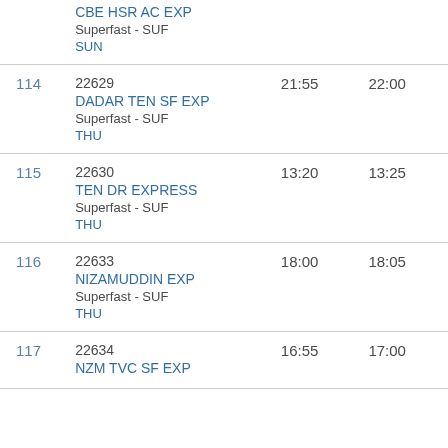| # | Train | Arrival | Departure |
| --- | --- | --- | --- |
|  | CBE HSR AC EXP
Superfast - SUF
SUN |  |  |
| 114 | 22629
DADAR TEN SF EXP
Superfast - SUF
THU | 21:55 | 22:00 |
| 115 | 22630
TEN DR EXPRESS
Superfast - SUF
THU | 13:20 | 13:25 |
| 116 | 22633
NIZAMUDDIN EXP
Superfast - SUF
THU | 18:00 | 18:05 |
| 117 | 22634
NZM TVC SF EXP | 16:55 | 17:00 |